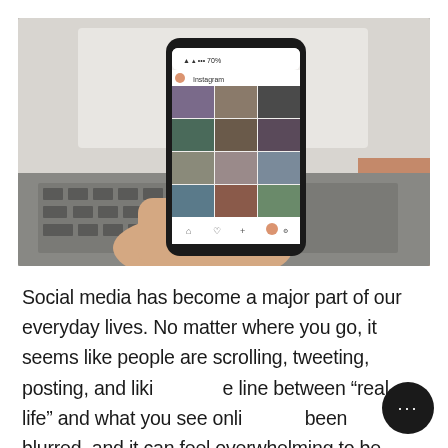[Figure (photo): A hand holding a smartphone displaying an Instagram-like photo grid app, with a laptop keyboard and screen visible in the background. The phone shows rows of thumbnail images. Photo is in black and white / desaturated tones.]
Social media has become a major part of our everyday lives. No matter where you go, it seems like people are scrolling, tweeting, posting, and liking. The line between “real life” and what you see online has been blurred, and it can feel overwhelming to be